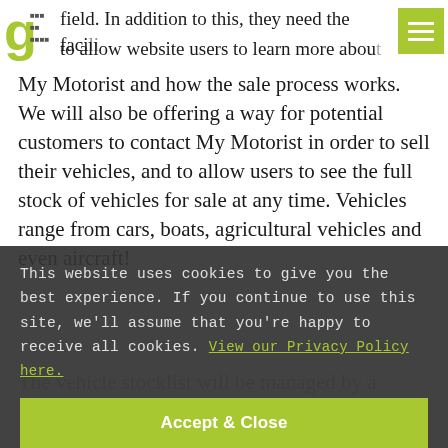g [logo] field. In addition to this, they need the facility to allow website users to learn more about
My Motorist and how the sale process works. We will also be offering a way for potential customers to contact My Motorist in order to sell their vehicles, and to allow users to see the full stock of vehicles for sale at any time. Vehicles range from cars, boats, agricultural vehicles and even aircraft!
The vehicle stocklist will be managed by a
This website uses cookies to give you the best experience. If you continue to use this site, we'll assume that you're happy to receive all cookies. View our Privacy Policy here.
Accept & Close